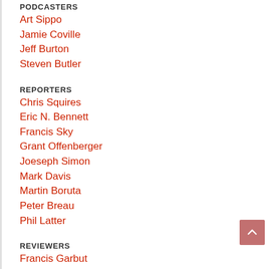PODCASTERS
Art Sippo
Jamie Coville
Jeff Burton
Steven Butler
REPORTERS
Chris Squires
Eric N. Bennett
Francis Sky
Grant Offenberger
Joeseph Simon
Mark Davis
Martin Boruta
Peter Breau
Phil Latter
REVIEWERS
Francis Garbut